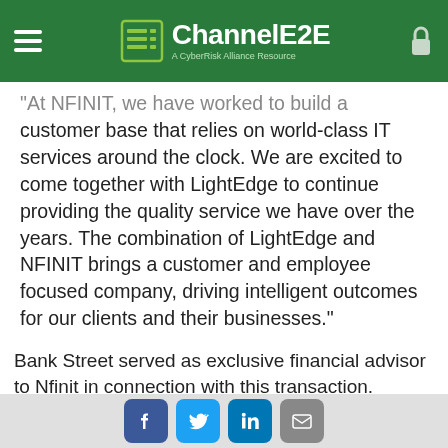ChannelE2E — A CyberRisk Alliance Resource
"At NFINIT, we have worked to build a customer base that relies on world-class IT services around the clock. We are excited to come together with LightEdge to continue providing the quality service we have over the years. The combination of LightEdge and NFINIT brings a customer and employee focused company, driving intelligent outcomes for our clients and their businesses."
Bank Street served as exclusive financial advisor to Nfinit in connection with this transaction.
[Figure (screenshot): Purple N-able advertisement banner showing partial text 'POWER UP' in large white letters with N-able logo in bottom right]
Social share buttons: Facebook, Twitter, LinkedIn, Email